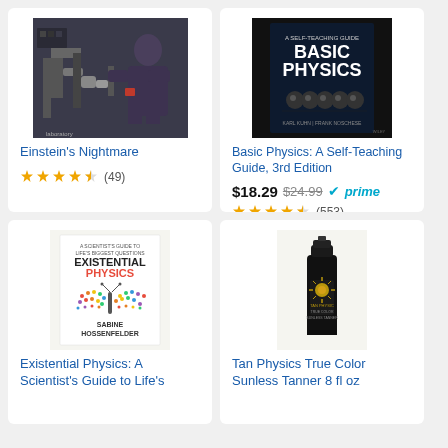[Figure (photo): Photo of a bald man in dark shirt working with scientific laboratory equipment]
Einstein's Nightmare
[Figure (illustration): Star rating: 4.5 stars, (49) reviews]
[Figure (photo): Book cover: Basic Physics: A Self-Teaching Guide, 3rd Edition on dark background]
Basic Physics: A Self-Teaching Guide, 3rd Edition
$18.29 $24.99 prime (553)
[Figure (photo): Book cover: Existential Physics: A Scientist's Guide to Life's Biggest Questions by Sabine Hossenfelder]
Existential Physics: A Scientist's Guide to Life's
[Figure (photo): Tan Physics True Color Sunless Tanner 8 fl oz product bottle]
Tan Physics True Color Sunless Tanner 8 fl oz